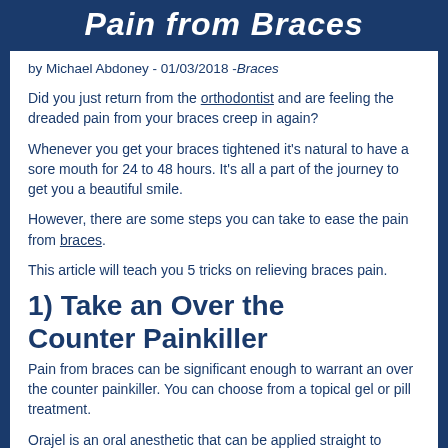Pain from Braces
by Michael Abdoney - 01/03/2018 -Braces
Did you just return from the orthodontist and are feeling the dreaded pain from your braces creep in again?
Whenever you get your braces tightened it's natural to have a sore mouth for 24 to 48 hours. It's all a part of the journey to get you a beautiful smile.
However, there are some steps you can take to ease the pain from braces.
This article will teach you 5 tricks on relieving braces pain.
1) Take an Over the Counter Painkiller
Pain from braces can be significant enough to warrant an over the counter painkiller. You can choose from a topical gel or pill treatment.
Orajel is an oral anesthetic that can be applied straight to the...